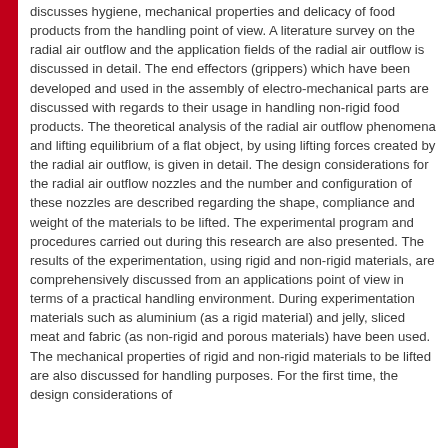discusses hygiene, mechanical properties and delicacy of food products from the handling point of view. A literature survey on the radial air outflow and the application fields of the radial air outflow is discussed in detail. The end effectors (grippers) which have been developed and used in the assembly of electro-mechanical parts are discussed with regards to their usage in handling non-rigid food products. The theoretical analysis of the radial air outflow phenomena and lifting equilibrium of a flat object, by using lifting forces created by the radial air outflow, is given in detail. The design considerations for the radial air outflow nozzles and the number and configuration of these nozzles are described regarding the shape, compliance and weight of the materials to be lifted. The experimental program and procedures carried out during this research are also presented. The results of the experimentation, using rigid and non-rigid materials, are comprehensively discussed from an applications point of view in terms of a practical handling environment. During experimentation materials such as aluminium (as a rigid material) and jelly, sliced meat and fabric (as non-rigid and porous materials) have been used. The mechanical properties of rigid and non-rigid materials to be lifted are also discussed for handling purposes. For the first time, the design considerations of